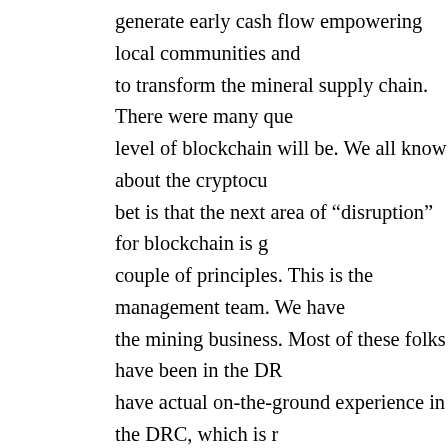generate early cash flow empowering local communities and to transform the mineral supply chain. There were many que level of blockchain will be. We all know about the cryptocu bet is that the next area of "disruption" for blockchain is g couple of principles. This is the management team. We have the mining business. Most of these folks have been in the DR have actual on-the-ground experience in the DRC, which is r morning, in addition to being one of those lead of Belaire M a CEO of CertaPay, which was the first email direct bank to there. I am the Special Advisor for Technology and Blockch technology to resource firms so working with Nobel Min company mining graphite using the blockchain as well. It tu are two parts to our premise, the cobalt part and the blockch debate about whether we were going to do something differe Cobalt, as you have heard from many people at this confe demand is rising due to EV batteries. No matter what Elo kilograms of cobalt in his batteries. Even if he goes forward